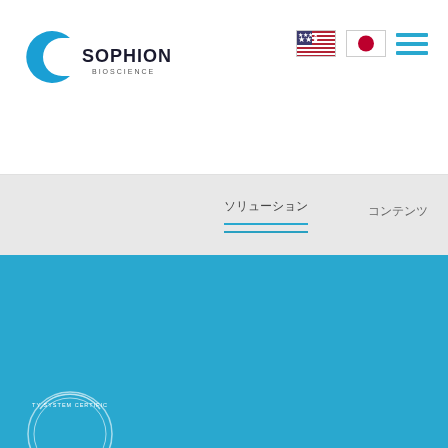[Figure (logo): Sophion Bioscience logo - blue 'c' shape with SOPHION BIOSCIENCE text]
[Figure (illustration): US flag and Japanese flag icons, plus hamburger menu icon]
ソリューション コンテンツ
Follow us:
[Figure (illustration): LinkedIn icon (square with 'in') and Twitter bird icon in white on teal background]
Certification
[Figure (logo): CIPA certification logo in white on teal background]
[Figure (logo): Quality System Certification circular badge, partially visible at bottom]